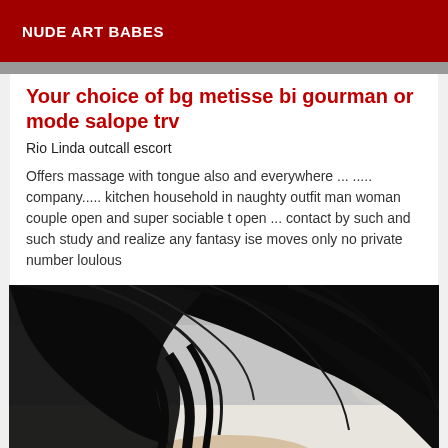NUDE ART BABES
Your choice of bg metisse bi gourman or mode salope trv
Rio Linda outcall escort
Offers massage with tongue also and everywhere ... ..... company..... kitchen household in naughty outfit man woman couple open and super sociable t open ... contact by such and such study and realize any fantasy ise moves only no private number loulous
[Figure (photo): Woman with long dark black hair viewed from behind, lying on a white surface, background has a light/cream wall with a faint floral pattern.]